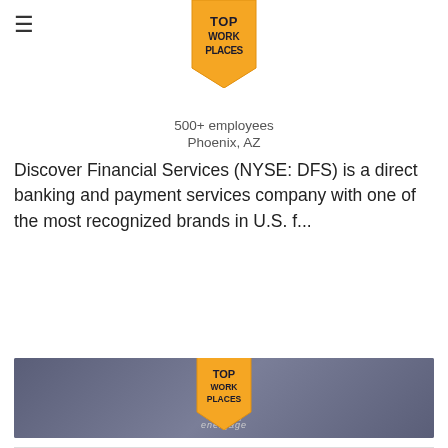≡  TOP WORK PLACES
500+ employees
Phoenix, AZ
Discover Financial Services (NYSE: DFS) is a direct banking and payment services company with one of the most recognized brands in U.S. f...
View Company Profile
[Figure (photo): Office/workspace background image with Top Work Places badge powered by Energage logo overlay, and a dark navy TOP button in bottom-right corner]